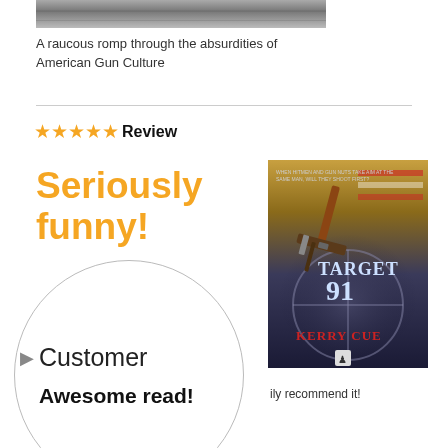[Figure (photo): Top portion of a book or image, partially cropped, dark tones]
A raucous romp through the absurdities of American Gun Culture
★★★★★ Review
[Figure (infographic): Large bold orange text reading 'Seriously funny!' overlapping with a white circle containing 'Customer' and 'Awesome read!' text, alongside book cover of Target 91 by Kerry Cue]
ily recommend it!